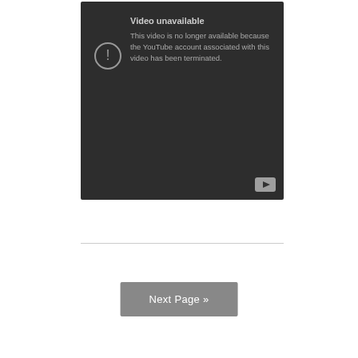[Figure (screenshot): YouTube video unavailable error screen with dark background. Shows an exclamation mark icon in a circle on the left and text reading: 'Video unavailable. This video is no longer available because the YouTube account associated with this video has been terminated.' A YouTube play button icon appears in the bottom right corner.]
Next Page »